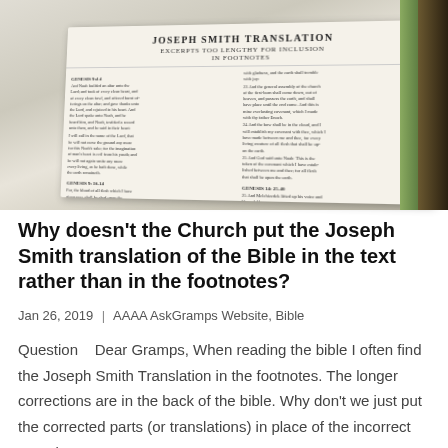[Figure (photo): A photograph of an open Bible showing the 'Joseph Smith Translation - Excerpts Too Lengthy for Inclusion in Footnotes' section, with two-column text layout showing Genesis references]
Why doesn't the Church put the Joseph Smith translation of the Bible in the text rather than in the footnotes?
Jan 26, 2019 | AAAA AskGramps Website, Bible
Question    Dear Gramps, When reading the bible I often find the Joseph Smith Translation in the footnotes. The longer corrections are in the back of the bible. Why don't we just put the corrected parts (or translations) in place of the incorrect parts in...